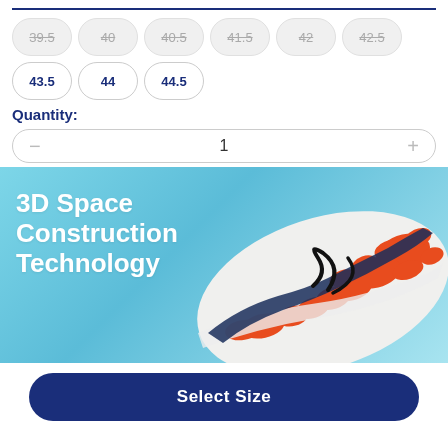39.5 (unavailable), 40 (unavailable), 40.5 (unavailable), 41.5 (unavailable), 42 (unavailable), 42.5 (unavailable)
43.5 (available), 44 (available), 44.5 (available)
Quantity:
— 1 +
[Figure (photo): Running shoe bottom showing orange and white sole tread pattern on a light blue background with text '3D Space Construction Technology' in white on the left]
Select Size